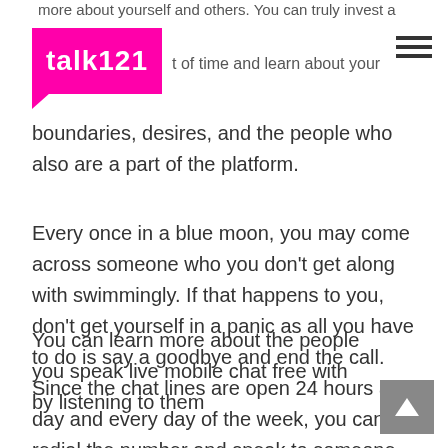more about yourself and others. You can truly invest a [logo: talk121] t of time and learn about your boundaries, desires, and the people who also are a part of the platform.
Every once in a blue moon, you may come across someone who you don't get along with swimmingly. If that happens to you, don't get yourself in a panic as all you have to do is say a goodbye and end the call. Since the chat lines are open 24 hours a day and every day of the week, you can redial the number and speak to someone new whenever it works for you.
You can learn more about the people you speak live mobile chat free with by listening to them